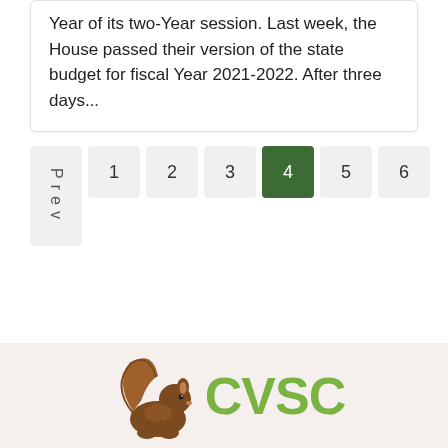Year of its two-Year session. Last week, the House passed their version of the state budget for fiscal Year 2021-2022. After three days...
[Figure (other): Pagination navigation: Prev button, page buttons 1-6 with page 4 highlighted in dark green]
[Figure (logo): CVSC logo with squirrel illustration and CVSC text in green]